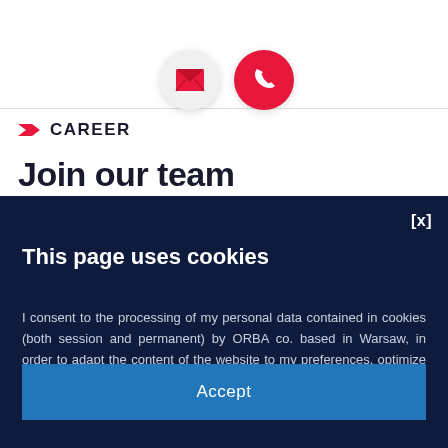[Figure (logo): ORBA Ingaro Group logo in red italic text]
[Figure (illustration): Email envelope icon in white circle and phone icon in red circle]
CAREER
Join our team
This page uses cookies
I consent to the processing of my personal data contained in cookies (both session and permanent) by ORBA co. based in Warsaw, in order to adapt the content of the website to my preferences, optimize the use of websites, create anonymous statistics that allow monitoring of how the website is being used.
Accept